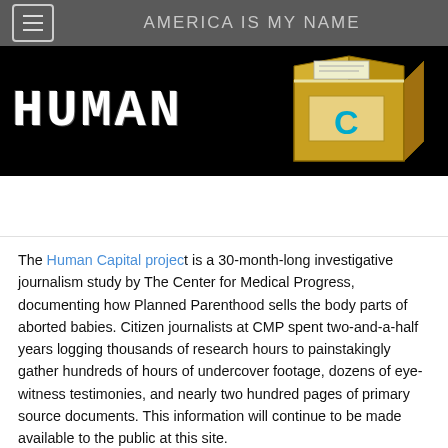AMERICA IS MY NAME
[Figure (photo): Banner image showing the word HUMAN in large white typewriter-style text on a black background, with a cardboard box on the right side.]
The Human Capital project is a 30-month-long investigative journalism study by The Center for Medical Progress, documenting how Planned Parenthood sells the body parts of aborted babies. Citizen journalists at CMP spent two-and-a-half years logging thousands of research hours to painstakingly gather hundreds of hours of undercover footage, dozens of eye-witness testimonies, and nearly two hundred pages of primary source documents. This information will continue to be made available to the public at this site.
The video footage gathered in this project is presented in two formats: 1)...